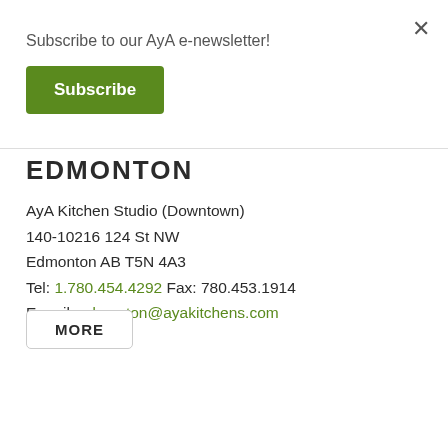×
Subscribe to our AyA e-newsletter!
Subscribe
EDMONTON
AyA Kitchen Studio (Downtown)
140-10216 124 St NW
Edmonton AB T5N 4A3
Tel: 1.780.454.4292 Fax: 780.453.1914
E-mail: edmonton@ayakitchens.com
MORE